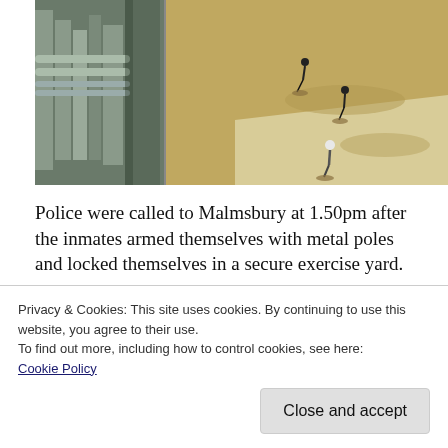[Figure (photo): Aerial view of a prison exercise yard showing figures (inmates) on sandy/concrete ground with shadows, and industrial structures visible on the left side.]
Police were called to Malmsbury at 1.50pm after the inmates armed themselves with metal poles and locked themselves in a secure exercise yard.
Privacy & Cookies: This site uses cookies. By continuing to use this website, you agree to their use.
To find out more, including how to control cookies, see here: Cookie Policy